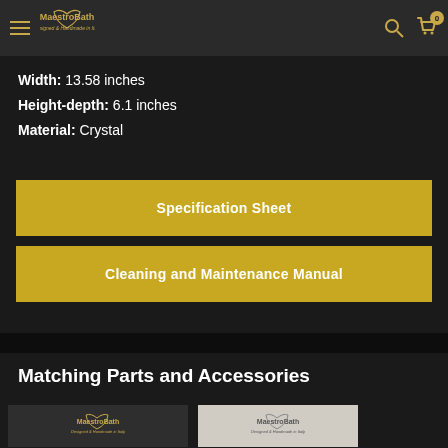[Figure (logo): MaestroBath logo with navigation bar including hamburger menu, search icon, and cart icon with badge showing 0]
Width: 13.58 inches
Height-depth: 6.1 inches
Material: Crystal
Specification Sheet
Cleaning and Maintenance Manual
Matching Parts and Accessories
[Figure (logo): MaestroBath logo on dark background card]
[Figure (logo): MaestroBath logo on light background card]